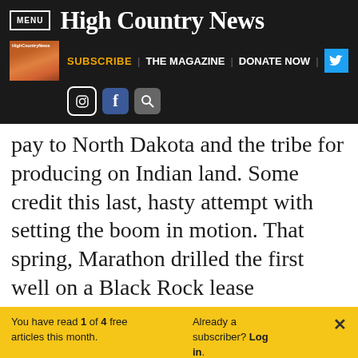MENU | High Country News
[Figure (screenshot): Navigation bar with High Country News magazine thumbnail, SUBSCRIBE, THE MAGAZINE, DONATE NOW links, Twitter button, Instagram icon, Facebook icon, search icon]
pay to North Dakota and the tribe for producing on Indian land. Some credit this last, hasty attempt with setting the boom in motion. That spring, Marathon drilled the first well on a Black Rock lease
You have read 1 of 4 free articles this month. Already a subscriber? Log in. ×
Support independent journalism. Subscribe